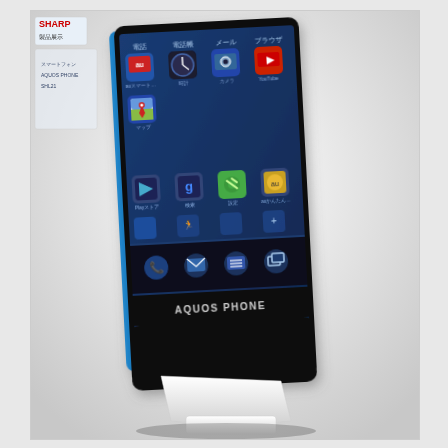[Figure (photo): A Sharp AQUOS PHONE Android smartphone displayed on a white stand. The phone is shown at an angle with its screen on, displaying the Android home screen with Japanese app icons including 電話 (Phone), 電話帳 (Contacts), メール (Mail), ブラウザ (Browser), auスマート (au Smart), 時計 (Clock), カメラ (Camera), YouTube, マップ (Maps), Playストア (Play Store), 検索 (Search), 設定 (Settings), auかんたん (au Easy), and other apps. The phone has a blue/cyan edge and shows 'AQUOS PHONE' branding at the bottom. A Sharp logo is visible in the upper left background.]